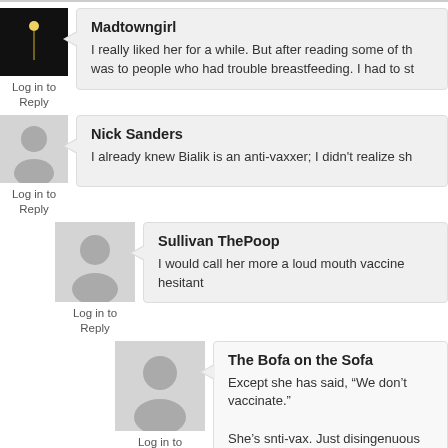[Figure (photo): Avatar photo: dark image with moon reflection on water]
Log in to
Reply
Madtowngirl
I really liked her for a while. But after reading some of th... was to people who had trouble breastfeeding. I had to st...
[Figure (photo): Generic user avatar (gray silhouette)]
Log in to
Reply
Nick Sanders
I already knew Bialik is an anti-vaxxer; I didn't realize sh...
[Figure (photo): Generic user avatar (gray silhouette), medium size]
Log in to
Reply
Sullivan ThePoop
I would call her more a loud mouth vaccine hesitant...
[Figure (photo): Generic user avatar (gray silhouette), large size]
Log in to
Reply
The Bofa on the Sofa
Except she has said, “We don’t vaccinate.”
She’s snti-vax. Just disingenuous about it, like th...